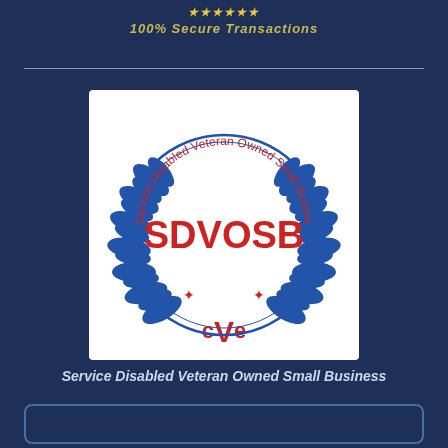100% Secure Transactions
[Figure (logo): SDVOSB - Service Disabled Veteran Owned Small Business certification seal with blue laurel wreath and CVE mark]
Service Disabled Veteran Owned Small Business